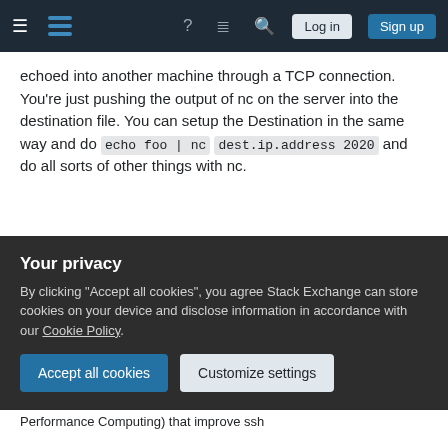Stack Exchange navigation bar with Log in and Sign up buttons
echoed into another machine through a TCP connection. You're just pushing the output of nc on the server into the destination file. You can setup the Destination in the same way and do echo foo | nc dest.ip.address 2020 and do all sorts of other things with nc.
Share | Improve this answer | Follow
edited Aug 20, 2015 at 21:23 | 111--- | 4,306 ● 2 ● 26 ● 50
Your privacy
By clicking "Accept all cookies", you agree Stack Exchange can store cookies on your device and disclose information in accordance with our Cookie Policy.
Accept all cookies | Customize settings
Performance Computing) that improve ssh